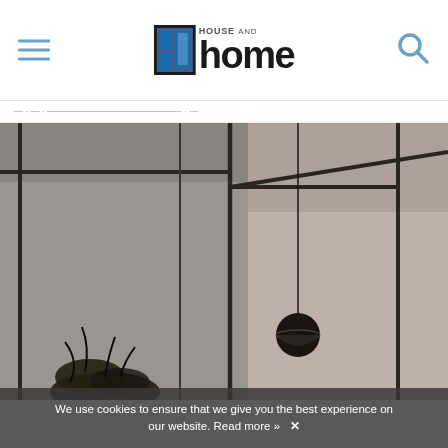House and Home
[Figure (photo): Interior room scene with dark structural frame lines on walls and ceiling, a black spherical pendant light hanging from a thin cord, and a dark dried botanical arrangement in the lower left corner. The walls are muted gray-pink tones.]
We use cookies to ensure that we give you the best experience on our website. Read more »  ✕